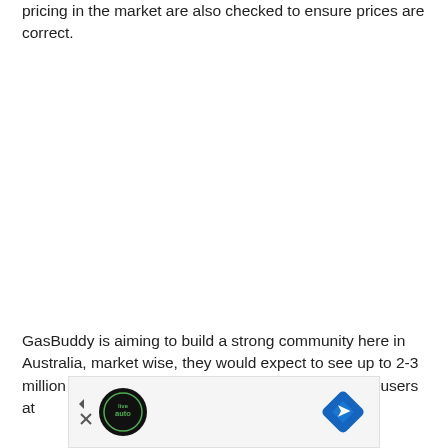pricing in the market are also checked to ensure prices are correct.
GasBuddy is aiming to build a strong community here in Australia, market wise, they would expect to see up to 2-3 million registered users, with around 1 million active users at
[Figure (other): Advertisement banner with auto-related logo (circular black badge with green text 'live auto') and a blue diamond-shaped navigation/direction icon, with play and close icons on the left.]